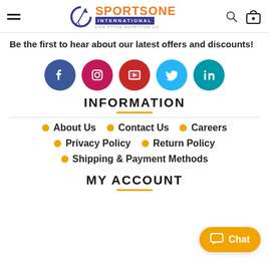SportsOne International Life Style Nutrition Co.
Be the first to hear about our latest offers and discounts!
[Figure (infographic): Row of five social media icons: Facebook (dark blue), Instagram (magenta/pink), YouTube (red), Twitter (light blue), LinkedIn (teal/blue)]
INFORMATION
About Us
Contact Us
Careers
Privacy Policy
Return Policy
Shipping & Payment Methods
MY ACCOUNT